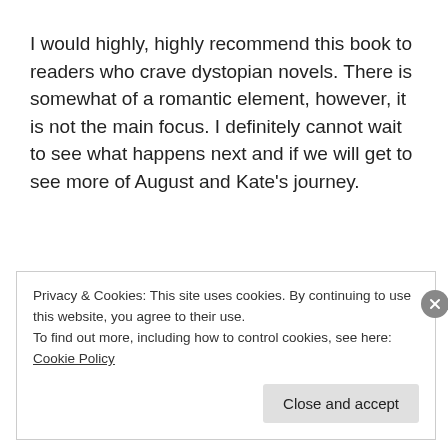I would highly, highly recommend this book to readers who crave dystopian novels. There is somewhat of a romantic element, however, it is not the main focus. I definitely cannot wait to see what happens next and if we will get to see more of August and Kate's journey.
Privacy & Cookies: This site uses cookies. By continuing to use this website, you agree to their use.
To find out more, including how to control cookies, see here: Cookie Policy